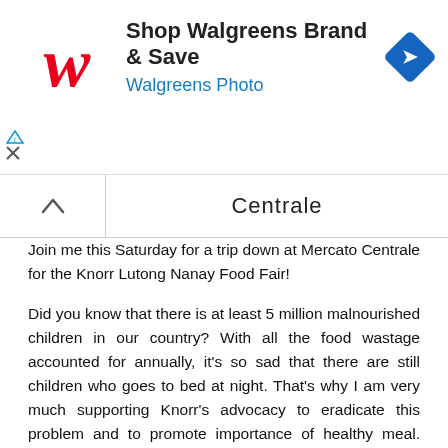[Figure (logo): Walgreens advertisement banner with Walgreens W logo in red cursive, text 'Shop Walgreens Brand & Save' and 'Walgreens Photo' in blue, and a blue diamond-shaped navigation/directions icon on the right. AdChoices triangle and X icons on the left.]
Centrale
Join me this Saturday for a trip down at Mercato Centrale for the Knorr Lutong Nanay Food Fair!
Did you know that there is at least 5 million malnourished children in our country? With all the food wastage accounted for annually, it's so sad that there are still children who goes to bed at night. That's why I am very much supporting Knorr's advocacy to eradicate this problem and to promote importance of healthy meal. Home cooked meal are still the best, the simplest to make